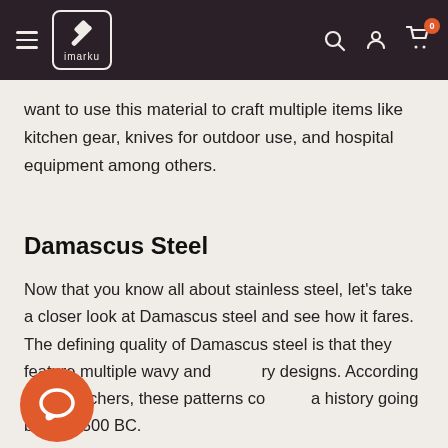imarku
want to use this material to craft multiple items like kitchen gear, knives for outdoor use, and hospital equipment among others.
Damascus Steel
Now that you know all about stainless steel, let's take a closer look at Damascus steel and see how it fares. The defining quality of Damascus steel is that they feature multiple wavy and wavy designs. According to researchers, these patterns come with a history going back to 500 BC.
Previously, this type of steel was utilized to create blades of